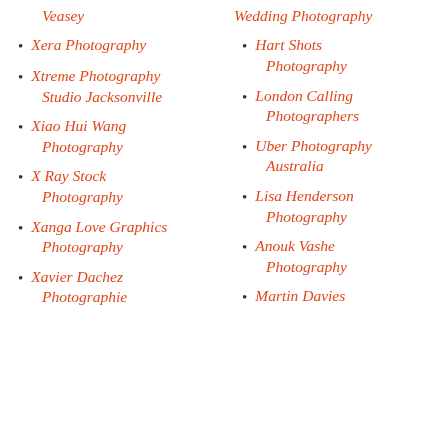Veasey
Xera Photography
Xtreme Photography Studio Jacksonville
Xiao Hui Wang Photography
X Ray Stock Photography
Xanga Love Graphics Photography
Xavier Dachez Photographie
Wedding Photography
Hart Shots Photography
London Calling Photographers
Uber Photography Australia
Lisa Henderson Photography
Anouk Vashe Photography
Martin Davies